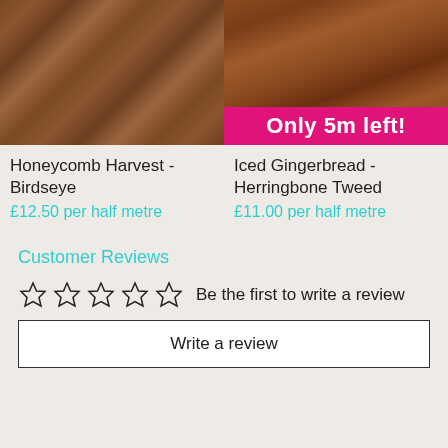[Figure (photo): Close-up of brown honeycomb birdseye fabric texture, left product image]
[Figure (photo): Close-up of brown iced gingerbread herringbone tweed fabric texture, right product image, with pink 'Only 5m left!' badge overlay]
Honeycomb Harvest - Birdseye
£12.50 per half metre
Iced Gingerbread - Herringbone Tweed
£11.00 per half metre
Customer Reviews
Be the first to write a review
Write a review